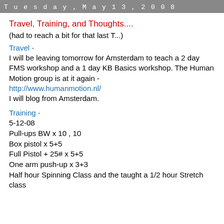Tuesday, May 13, 2008
Travel, Training, and Thoughts....
(had to reach a bit for that last T...)
Travel -
I will be leaving tomorrow for Amsterdam to teach a 2 day FMS workshop and a 1 day KB Basics workshop. The Human Motion group is at it again -
http://www.humanmotion.nl/
I will blog from Amsterdam.
Training -
5-12-08
Pull-ups BW x 10 , 10
Box pistol x 5+5
Full Pistol + 25# x 5+5
One arm push-up x 3+3
Half hour Spinning Class and the taught a 1/2 hour Stretch class